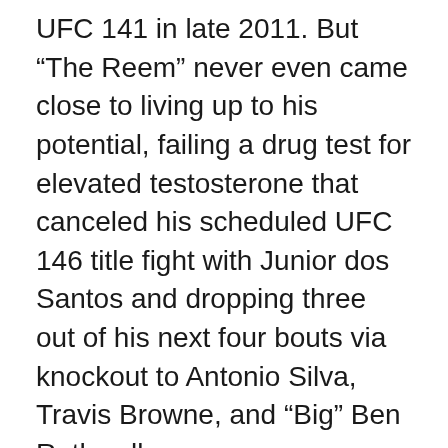UFC 141 in late 2011. But “The Reem” never even came close to living up to his potential, failing a drug test for elevated testosterone that canceled his scheduled UFC 146 title fight with Junior dos Santos and dropping three out of his next four bouts via knockout to Antonio Silva, Travis Browne, and “Big” Ben Rothwell.